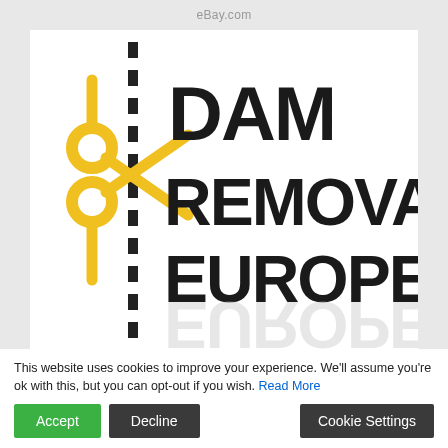eBay.com
[Figure (logo): Dam Removal Europe logo with yellow scissors cutting a dashed vertical line, bold black uppercase text reading DAM REMOVAL EUROPE with a reflected/mirrored EUROPE text below]
This website uses cookies to improve your experience. We'll assume you're ok with this, but you can opt-out if you wish. Read More
Accept
Decline
Cookie Settings